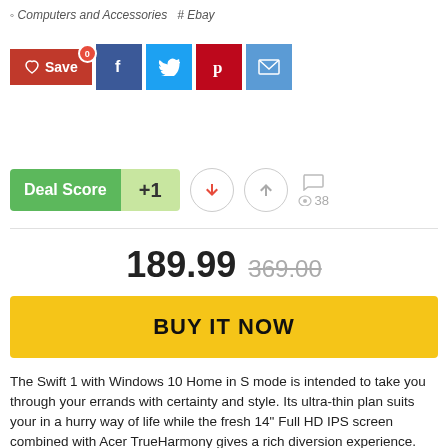Computers and Accessories  # Ebay
[Figure (infographic): Social sharing buttons: Save (red with heart icon and badge 0), Facebook (blue), Twitter (cyan), Pinterest (red), Email (blue)]
[Figure (infographic): Deal Score widget showing +1, with thumbs down and thumbs up vote buttons, a comment icon, and 38 views]
189.99  369.00
BUY IT NOW
The Swift 1 with Windows 10 Home in S mode is intended to take you through your errands with certainty and style. Its ultra-thin plan suits your in a hurry way of life while the fresh 14" Full HD IPS screen combined with Acer TrueHarmony gives a rich diversion experience. The quick remote association with an extra-long battery life makes it the ideal partner at work, school, home anyplace! Also,